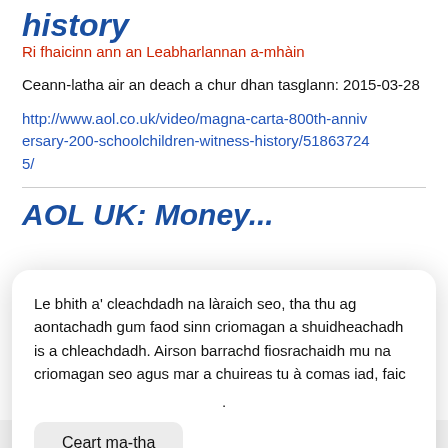history
Ri fhaicinn ann an Leabharlannan a-mhàin
Ceann-latha air an deach a chur dhan tasglann: 2015-03-28
http://www.aol.co.uk/video/magna-carta-800th-anniversary-200-schoolchildren-witness-history/518637245/
AOL UK: Money...
Le bhith a' cleachdadh na làraich seo, tha thu ag aontachadh gum faod sinn criomagan a shuidheachadh is a chleachdadh. Airson barrachd fiosrachaidh mu na criomagan seo agus mar a chuireas tu à comas iad, faic
.
Ceart ma-tha